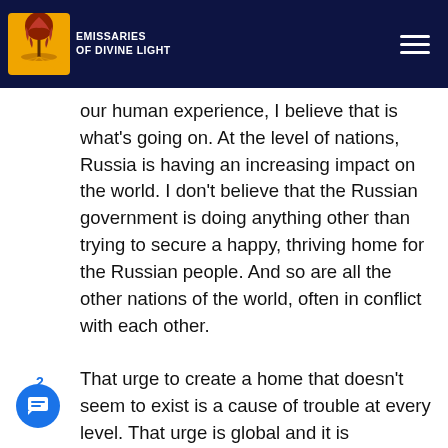Emissaries of Divine Light
our human experience, I believe that is what's going on. At the level of nations, Russia is having an increasing impact on the world. I don't believe that the Russian government is doing anything other than trying to secure a happy, thriving home for the Russian people. And so are all the other nations of the world, often in conflict with each other.

That urge to create a home that doesn't seem to exist is a cause of trouble at every level. That urge is global and it is individual. I noticed in myself this week a wistful longing for home—an almost grieving, mourning longing. Do you ever have those feelings? What's that all about?